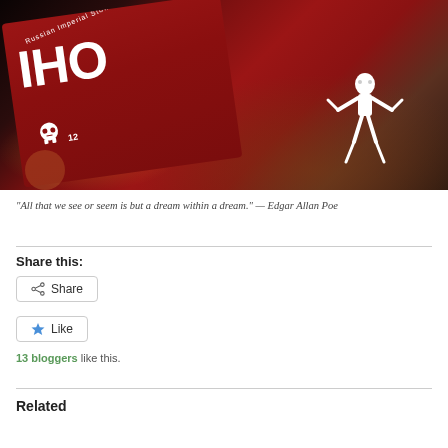[Figure (photo): Close-up photo of a dark bottle with a red label reading 'Russian Imperial Stout' and a skull graphic, with a white skeleton figurine visible on a wooden surface beside it.]
“All that we see or seem is but a dream within a dream.” — Edgar Allan Poe
Share this:
Share
Like
13 bloggers like this.
Related